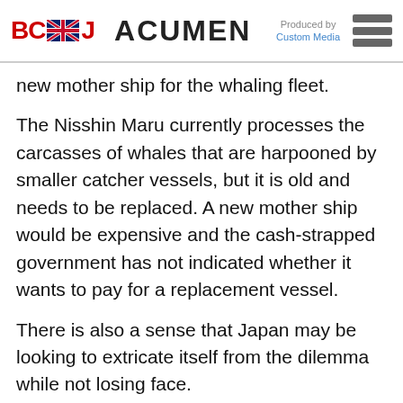BCCJ ACUMEN — Produced by Custom Media
new mother ship for the whaling fleet.
The Nisshin Maru currently processes the carcasses of whales that are harpooned by smaller catcher vessels, but it is old and needs to be replaced. A new mother ship would be expensive and the cash-strapped government has not indicated whether it wants to pay for a replacement vessel.
There is also a sense that Japan may be looking to extricate itself from the dilemma while not losing face.
In December 2010, a conference organised by